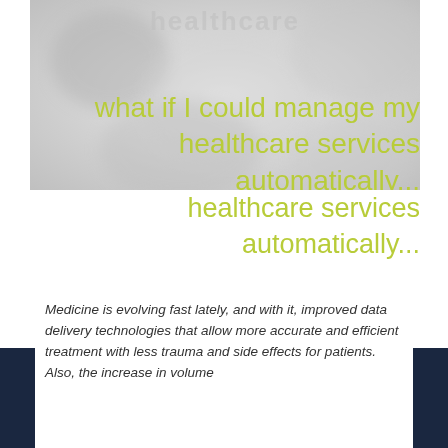[Figure (photo): Blurred grey background image, possibly nature/bokeh, with faded 'healthcare' watermark text overlaid]
what if I could manage my healthcare services automatically...
Medicine is evolving fast lately, and with it, improved data delivery technologies that allow more accurate and efficient treatment with less trauma and side effects for patients. Also, the increase in volume...